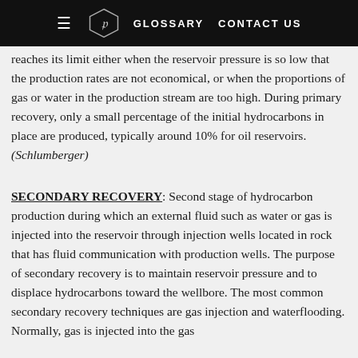GLOSSARY  CONTACT US
reaches its limit either when the reservoir pressure is so low that the production rates are not economical, or when the proportions of gas or water in the production stream are too high. During primary recovery, only a small percentage of the initial hydrocarbons in place are produced, typically around 10% for oil reservoirs. (Schlumberger)
SECONDARY RECOVERY: Second stage of hydrocarbon production during which an external fluid such as water or gas is injected into the reservoir through injection wells located in rock that has fluid communication with production wells. The purpose of secondary recovery is to maintain reservoir pressure and to displace hydrocarbons toward the wellbore. The most common secondary recovery techniques are gas injection and waterflooding. Normally, gas is injected into the gas